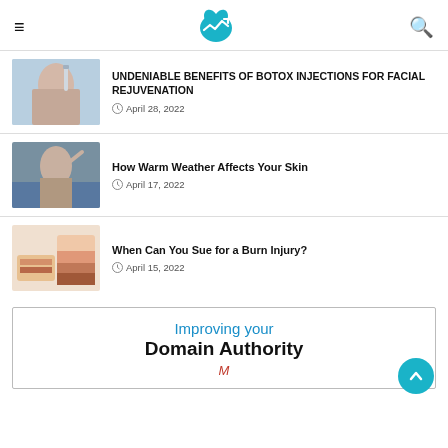Medical health blog header with logo
UNDENIABLE BENEFITS OF BOTOX INJECTIONS FOR FACIAL REJUVENATION
April 28, 2022
How Warm Weather Affects Your Skin
April 17, 2022
When Can You Sue for a Burn Injury?
April 15, 2022
[Figure (infographic): Improving your Domain Authority promotional banner]
Improving your Domain Authority